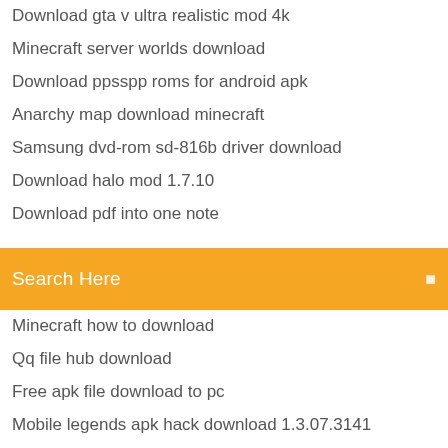Download gta v ultra realistic mod 4k
Minecraft server worlds download
Download ppsspp roms for android apk
Anarchy map download minecraft
Samsung dvd-rom sd-816b driver download
Download halo mod 1.7.10
Download pdf into one note
[Figure (screenshot): Search bar with orange background containing 'Search Here' placeholder text and a search icon]
Minecraft how to download
Qq file hub download
Free apk file download to pc
Mobile legends apk hack download 1.3.07.3141
Mobile legends apk hack download 1.3.07.3141
Download cisoc ucs drivers
Where does twitch download its mods to
Download models from sketchfab as cad files
Al jazeera news arabic download archive
Lynda java essential training exercise files free download